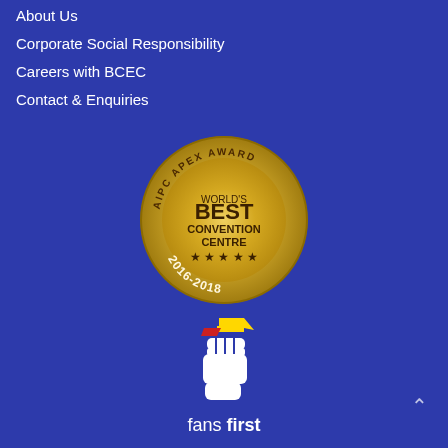About Us
Corporate Social Responsibility
Careers with BCEC
Contact & Enquiries
[Figure (logo): AIPC APEX Award circular gold badge reading WORLD'S BEST CONVENTION CENTRE with stars and 2016-2018]
[Figure (logo): Fans First logo — white raised fist holding a yellow and red ticket/crown, with text 'fans first' below in white]